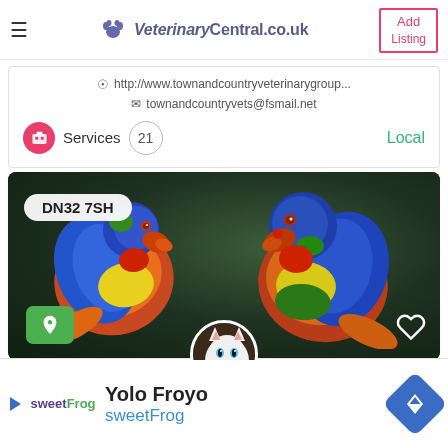VeterinaryCentral.co.uk | Add Listing
http://www.townandcountryveterinarygroup... | townandcountryvets@fsmail.net
Services 21 Local
[Figure (photo): Two rainbow lorikeet parrots on dark background with postcode tag DN32 7SH, map pin button, and heart icon. Cat avatar overlapping bottom center.]
Yolo Froyo
sweetFrog